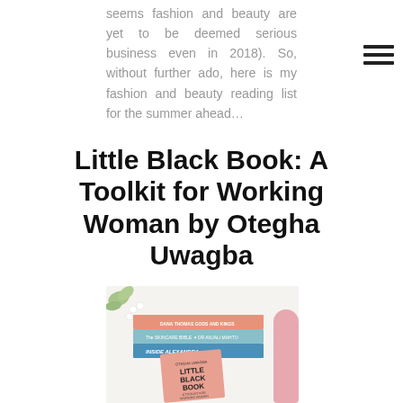seems fashion and beauty are yet to be deemed serious business even in 2018). So, without further ado, here is my fashion and beauty reading list for the summer ahead…
Little Black Book: A Toolkit for Working Woman by Otegha Uwagba
[Figure (photo): Stack of books on a white surface including 'Little Black Book: A Toolkit for Working Women' by Otegha Uwagba (pink cover), alongside other books including 'The Skincare Bible' by Dr Anjali Mahto and others. A pink object is visible in the top right corner.]